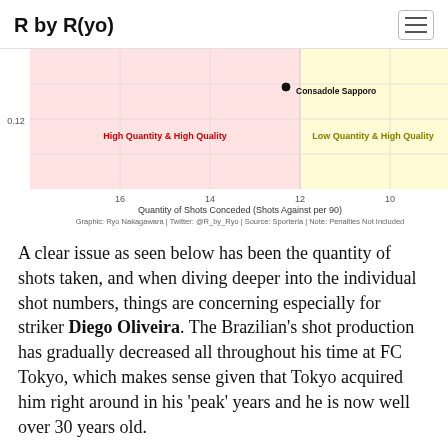R by R(yo)
[Figure (scatter-plot): Scatter plot showing shot quantity vs quality quadrants. Consadole Sapporo labeled in upper-right area of High Quantity & High Quality (pink) quadrant near border with Low Quantity & High Quality (yellow) quadrant. X-axis: Quantity of Shots Conceded (Shots Against per 90), values 16, 14, 12, 10. Y-axis label: 0.12. Quadrant labels: High Quantity & High Quality (red text, left), Low Quantity & High Quality (olive text, right). Caption: Graphic: Ryo Nakagawara | Twitter: @R_by_Ryo | Source: Sporteria | Note: Penalties Not Included]
A clear issue as seen below has been the quantity of shots taken, and when diving deeper into the individual shot numbers, things are concerning especially for striker Diego Oliveira. The Brazilian's shot production has gradually decreased all throughout his time at FC Tokyo, which makes sense given that Tokyo acquired him right around in his 'peak' years and he is now well over 30 years old.